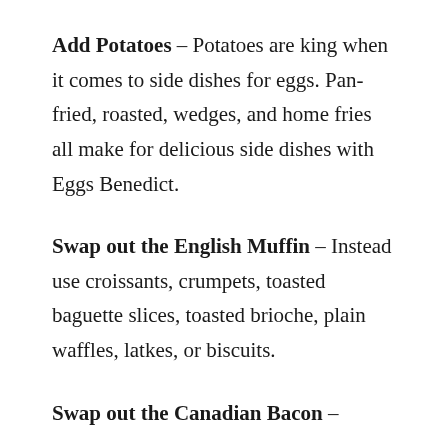Add Potatoes – Potatoes are king when it comes to side dishes for eggs. Pan-fried, roasted, wedges, and home fries all make for delicious side dishes with Eggs Benedict.
Swap out the English Muffin – Instead use croissants, crumpets, toasted baguette slices, toasted brioche, plain waffles, latkes, or biscuits.
Swap out the Canadian Bacon –